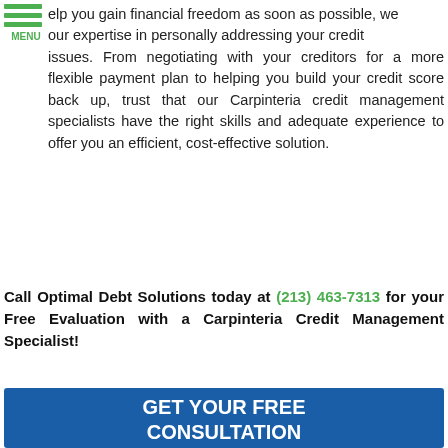MENU
…lp you gain financial freedom as soon as possible, we … our expertise in personally addressing your credit issues. From negotiating with your creditors for a more flexible payment plan to helping you build your credit score back up, trust that our Carpinteria credit management specialists have the right skills and adequate experience to offer you an efficient, cost-effective solution.
Call Optimal Debt Solutions today at (213) 463-7313 for your Free Evaluation with a Carpinteria Credit Management Specialist!
GET YOUR FREE CONSULTATION
Full Name
Best Phone
Email Address
How Can We Help You With Your Debt?